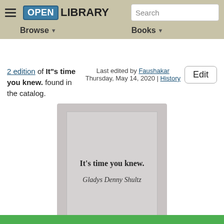Open Library — Browse | Books | Search
2 edition of It"s time you knew. found in the catalog. Last edited by Faushakar Thursday, May 14, 2020 | History
[Figure (illustration): Book cover placeholder showing title 'It's time you knew.' and author 'Gladys Denny Shultz' on a grey background]
It's time you knew.
Gladys Denny Shultz